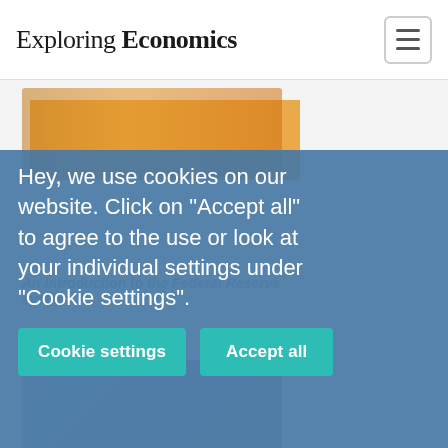Exploring Economics
[Figure (screenshot): Cookie consent banner overlay on the Exploring Economics website. The banner shows a blue semi-transparent overlay with cookie usage message and two teal buttons: 'Cookie settings' and 'Accept all'. Behind the overlay, partially visible content includes an article about the Federal Reserve system.]
Hey, we use cookies on our website. Click on "Accept all" to agree to the use or look at your individual settings under "Cookie settings".